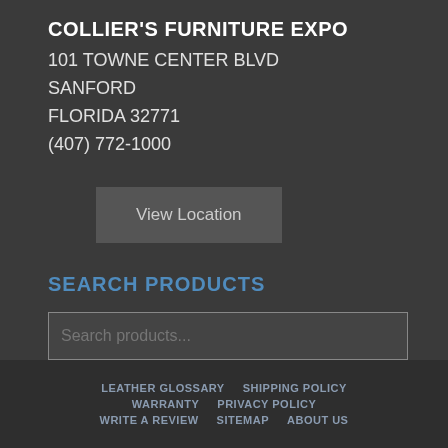COLLIER'S FURNITURE EXPO
101 TOWNE CENTER BLVD
SANFORD
FLORIDA 32771
(407) 772-1000
View Location
SEARCH PRODUCTS
Search products...
Search
LEATHER GLOSSARY   SHIPPING POLICY   WARRANTY   PRIVACY POLICY   WRITE A REVIEW   SITEMAP   ABOUT US